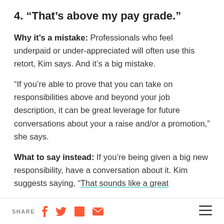4. “That’s above my pay grade.”
Why it’s a mistake: Professionals who feel underpaid or under-appreciated will often use this retort, Kim says. And it’s a big mistake.
“If you’re able to prove that you can take on responsibilities above and beyond your job description, it can be great leverage for future conversations about your a raise and/or a promotion,” she says.
What to say instead: If you’re being given a big new responsibility, have a conversation about it. Kim suggests saying, “That sounds like a great
SHARE